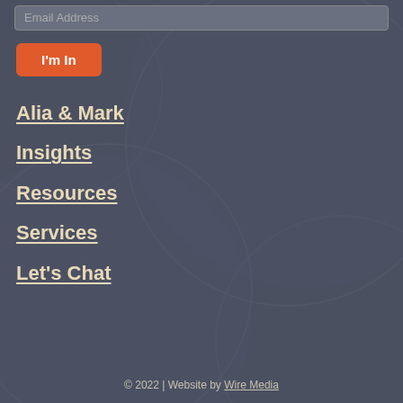Email Address
I'm In
Alia & Mark
Insights
Resources
Services
Let's Chat
© 2022 | Website by Wire Media